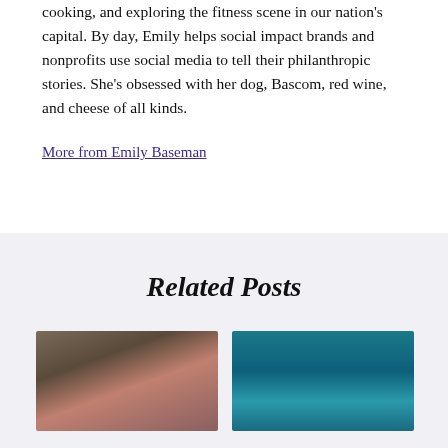cooking, and exploring the fitness scene in our nation's capital. By day, Emily helps social impact brands and nonprofits use social media to tell their philanthropic stories. She's obsessed with her dog, Bascom, red wine, and cheese of all kinds.
More from Emily Baseman
Related Posts
[Figure (photo): Photo of shoes/feet with running gear, burgundy leggings visible]
[Figure (photo): Photo of person swimming in blue water, face up]